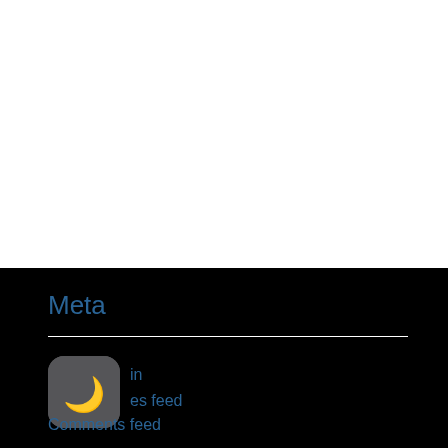Meta
[Figure (illustration): Dark mode toggle button — rounded square icon with a crescent moon symbol on dark gray background]
Log in
Entries feed
Comments feed